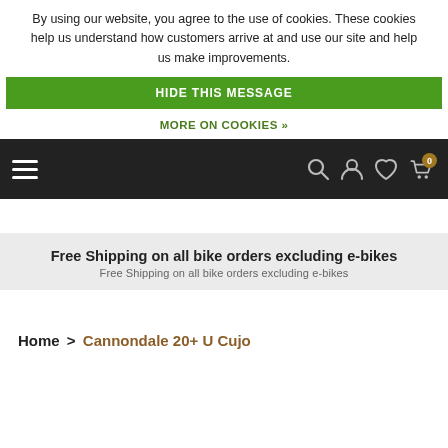By using our website, you agree to the use of cookies. These cookies help us understand how customers arrive at and use our site and help us make improvements.
HIDE THIS MESSAGE
MORE ON COOKIES »
[Figure (screenshot): Navigation bar with hamburger menu icon on left and search, account, wishlist, and cart icons on the right on a dark background]
Free Shipping on all bike orders excluding e-bikes
Free Shipping on all bike orders excluding e-bikes
Home > Cannondale 20+ U Cujo